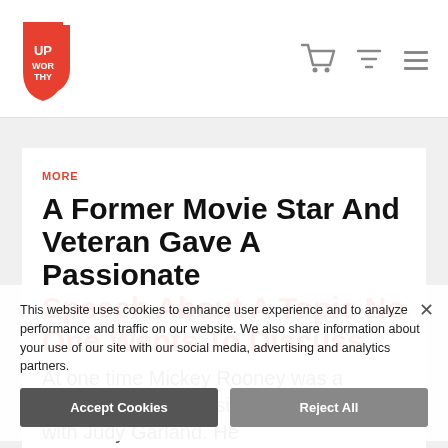Upworthy logo, cart icon, search icon, menu icon
MORE
A Former Movie Star And Veteran Gave A Passionate Speech About A Topic No One Wants To Discuss
At one time Mickey Rooney was a famous movie star, singing and dancing with Judy Garland. He
This website uses cookies to enhance user experience and to analyze performance and traffic on our website. We also share information about your use of our site with our social media, advertising and analytics partners.